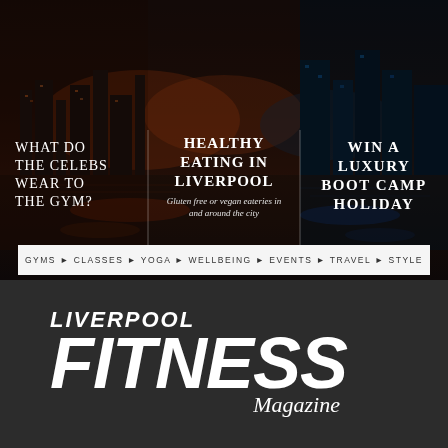[Figure (photo): Magazine cover hero image showing a dark cityscape of Liverpool waterfront at night/dusk with light reflections on water. Three text columns overlaid: left column 'WHAT DO THE CELEBS WEAR TO THE GYM?', center column 'HEALTHY EATING IN LIVERPOOL' with subtitle 'Gluten free or vegan eateries in and around the city', right column 'WIN A LUXURY BOOT CAMP HOLIDAY'.]
GYMS ▶ CLASSES ▶ YOGA ▶ WELLBEING ▶ EVENTS ▶ TRAVEL ▶ STYLE
LIVERPOOL FITNESS Magazine